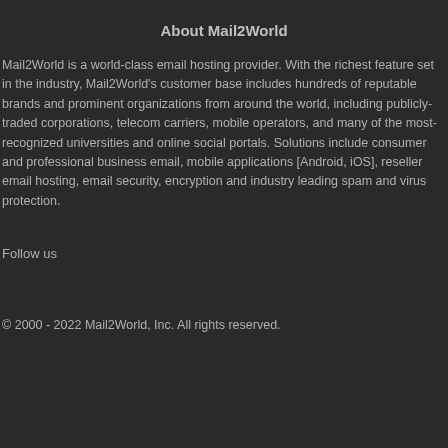About Mail2World
Mail2World is a world-class email hosting provider. With the richest feature set in the industry, Mail2World's customer base includes hundreds of reputable brands and prominent organizations from around the world, including publicly-traded corporations, telecom carriers, mobile operators, and many of the most-recognized universities and online social portals. Solutions include consumer and professional business email, mobile applications [Android, iOS], reseller email hosting, email security, encryption and industry leading spam and virus protection.
Follow us
© 2000 - 2022 Mail2World, Inc. All rights reserved.